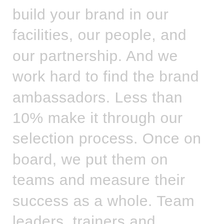build your brand in our facilities, our people, and our partnership. And we work hard to find the brand ambassadors. Less than 10% make it through our selection process. Once on board, we put them on teams and measure their success as a whole. Team leaders, trainers and teammates working together to create amazing customer experiences.